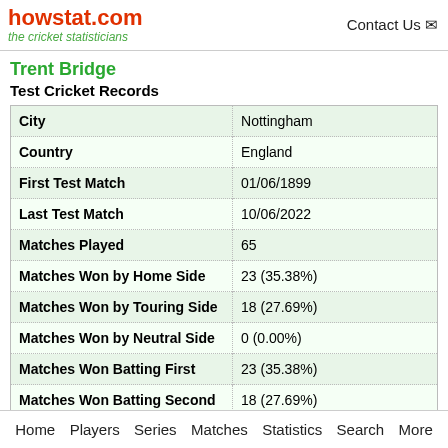howstat.com the cricket statisticians | Contact Us
Trent Bridge
Test Cricket Records
|  |  |
| --- | --- |
| City | Nottingham |
| Country | England |
| First Test Match | 01/06/1899 |
| Last Test Match | 10/06/2022 |
| Matches Played | 65 |
| Matches Won by Home Side | 23 (35.38%) |
| Matches Won by Touring Side | 18 (27.69%) |
| Matches Won by Neutral Side | 0 (0.00%) |
| Matches Won Batting First | 23 (35.38%) |
| Matches Won Batting Second | 18 (27.69%) |
Home   Players   Series   Matches   Statistics   Search   More